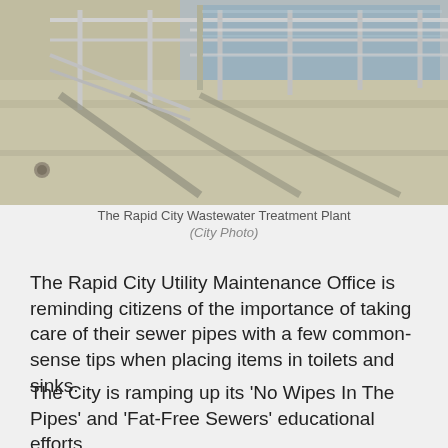[Figure (photo): Aerial/overhead photo of the Rapid City Wastewater Treatment Plant showing concrete walkways, metal railings, and treatment pools/basins with water.]
The Rapid City Wastewater Treatment Plant
(City Photo)
The Rapid City Utility Maintenance Office is reminding citizens of the importance of taking care of their sewer pipes with a few common-sense tips when placing items in toilets and sinks.
The City is ramping up its 'No Wipes In The Pipes' and 'Fat-Free Sewers' educational efforts.